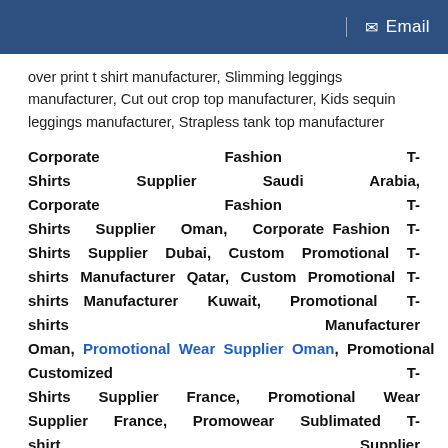Email
over print t shirt manufacturer, Slimming leggings manufacturer, Cut out crop top manufacturer, Kids sequin leggings manufacturer, Strapless tank top manufacturer
Corporate Fashion T-Shirts Supplier Saudi Arabia, Corporate Fashion T-Shirts Supplier Oman, Corporate Fashion T-Shirts Supplier Dubai, Custom Promotional T-shirts Manufacturer Qatar, Custom Promotional T-shirts Manufacturer Kuwait, Promotional T-shirts Manufacturer Oman, Promotional Wear Supplier Oman, Promotional Customized T-Shirts Supplier France, Promotional Wear Supplier France, Promowear Sublimated T-shirt Supplier Germany, Promotional Wear Supplier Kuwait, Promotional Textiles Manufacturer Dubai, Promotional Clothing
Read More